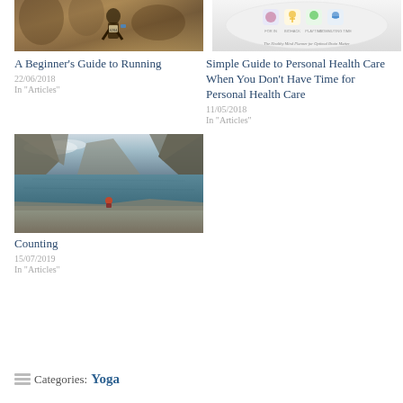[Figure (photo): Runner wearing race bib 4204 in outdoor race, dark brown tones]
A Beginner’s Guide to Running
22/06/2018
In “Articles”
[Figure (photo): Healthy Mind Planner for Optimal Brain Matter - icons on white oval background]
Simple Guide to Personal Health Care When You Don’t Have Time for Personal Health Care
11/05/2018
In “Articles”
[Figure (photo): Person sitting on a rocky ledge beside a mountain lake with dramatic cliffs]
Counting
15/07/2019
In “Articles”
Categories: Yoga